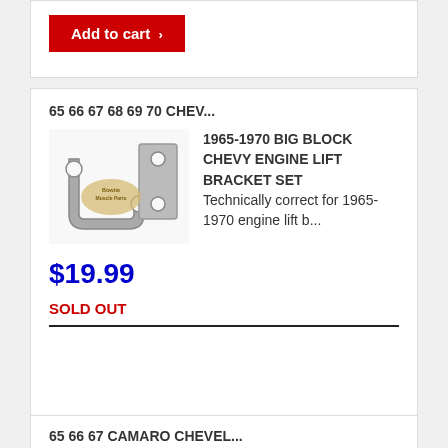[Figure (screenshot): Add to cart button (red background, white text with arrow) partially visible at top of page]
65 66 67 68 69 70 CHEV...
[Figure (photo): Two metal engine lift brackets shown against white background, with Bowtie Muscle Parts watermark oval logo]
1965-1970 BIG BLOCK CHEVY ENGINE LIFT BRACKET SET Technically correct for 1965-1970 engine lift b...
$19.99
SOLD OUT
65 66 67 CAMARO CHEVEL...
[Figure (photo): Black plastic spark plug wire separator set parts shown, with Bowtie watermark oval logo]
BIG BLOCK SPARK PLUG WIRE SEPARATOR SET 1965-1967 CHEVY BIG BLOCK Correct spark plug wire